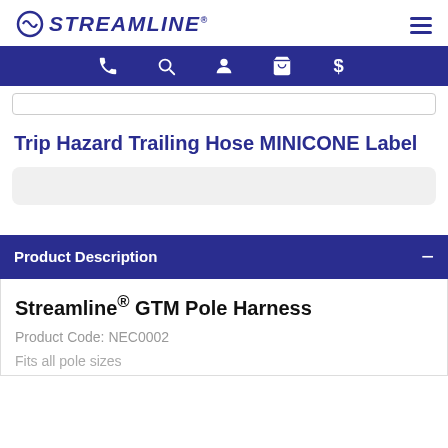STREAMLINE
[Figure (screenshot): Navigation bar with icons: phone, search, user, cart, dollar sign on dark blue background]
Trip Hazard Trailing Hose MINICONE Label
Product Description
Streamline® GTM Pole Harness
Product Code: NEC0002
Fits all pole sizes